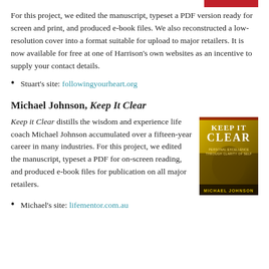For this project, we edited the manuscript, typeset a PDF version ready for screen and print, and produced e-book files. We also reconstructed a low-resolution cover into a format suitable for upload to major retailers. It is now available for free at one of Harrison's own websites as an incentive to supply your contact details.
Stuart's site: followingyourheart.org
Michael Johnson, Keep It Clear
Keep it Clear distills the wisdom and experience life coach Michael Johnson accumulated over a fifteen-year career in many industries. For this project, we edited the manuscript, typeset a PDF for on-screen reading, and produced e-book files for publication on all major retailers.
[Figure (photo): Book cover of 'Keep It Clear' by Michael Johnson, with golden/yellow tones showing text 'KEEP IT CLEAR', subtitle 'PERSONAL EXCELLENCE THROUGH CLARITY OF SELF', and author name 'MICHAEL JOHNSON' at the bottom.]
Michael's site: lifementor.com.au